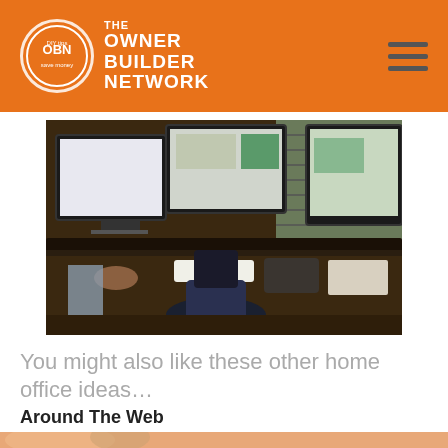THE OWNER BUILDER NETWORK
[Figure (photo): Home office setup with three computer monitors on a dark curved desk, office chair, keyboard, and various items. Room has bookshelves and window blinds in background.]
You might also like these other home office ideas…
Around The Web
[Figure (photo): Partial view of a person, bottom strip of page.]